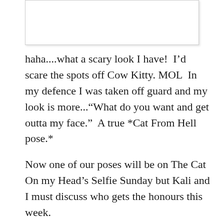[Figure (photo): White rectangular image placeholder at the top of the page with a light border and shadow]
haha....what a scary look I have!  I’d scare the spots off Cow Kitty. MOL  In my defence I was taken off guard and my look is more...“What do you want and get outta my face.”  A true *Cat From Hell pose.*
Now one of our poses will be on The Cat On my Head’s Selfie Sunday but Kali and I must discuss who gets the honours this week.
Tomorrow you will see the winner.